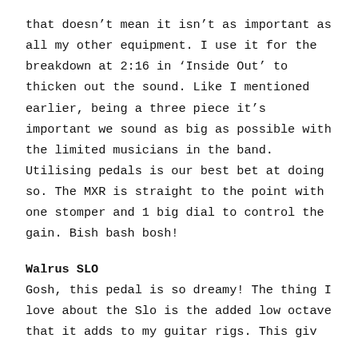that doesn't mean it isn't as important as all my other equipment. I use it for the breakdown at 2:16 in 'Inside Out' to thicken out the sound. Like I mentioned earlier, being a three piece it's important we sound as big as possible with the limited musicians in the band. Utilising pedals is our best bet at doing so. The MXR is straight to the point with one stomper and 1 big dial to control the gain. Bish bash bosh!
Walrus SLO
Gosh, this pedal is so dreamy! The thing I love about the Slo is the added low octave that it adds to my guitar rigs. This giv…